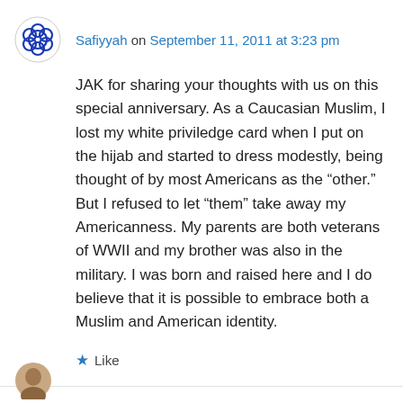Safiyyah on September 11, 2011 at 3:23 pm
JAK for sharing your thoughts with us on this special anniversary. As a Caucasian Muslim, I lost my white priviledge card when I put on the hijab and started to dress modestly, being thought of by most Americans as the “other.” But I refused to let “them” take away my Americanness. My parents are both veterans of WWII and my brother was also in the military. I was born and raised here and I do believe that it is possible to embrace both a Muslim and American identity.
Like